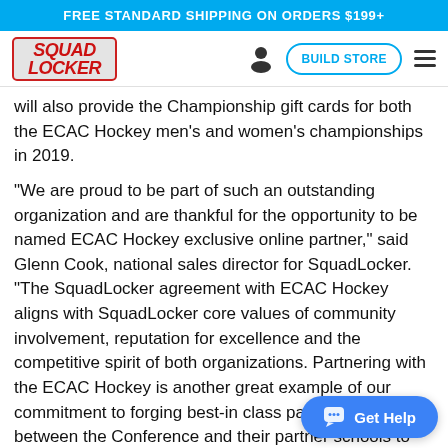FREE STANDARD SHIPPING ON ORDERS $199+
[Figure (logo): SquadLocker logo with red border and text, plus navigation bar with person icon, BUILD STORE button, and hamburger menu]
will also provide the Championship gift cards for both the ECAC Hockey men's and women's championships in 2019.
“We are proud to be part of such an outstanding organization and are thankful for the opportunity to be named ECAC Hockey exclusive online partner,” said Glenn Cook, national sales director for SquadLocker. “The SquadLocker agreement with ECAC Hockey aligns with SquadLocker core values of community involvement, reputation for excellence and the competitive spirit of both organizations. Partnering with the ECAC Hockey is another great example of our commitment to forging best-in class partnerships between the Conference and their partner schools to serve the needs of our customers and its fans.”
SquadLocker, offering a selection of more than 30,000 items from